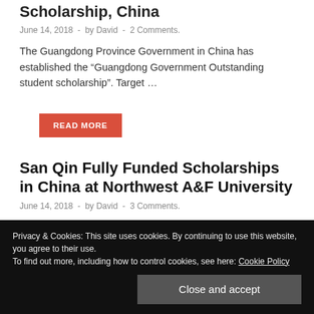Scholarship, China
June 14, 2018  -  by David  -  2 Comments.
The Guangdong Province Government in China has established the “Guangdong Government Outstanding student scholarship”. Target …
READ MORE
San Qin Fully Funded Scholarships in China at Northwest A&F University
June 14, 2018  -  by David  -  3 Comments.
Privacy & Cookies: This site uses cookies. By continuing to use this website, you agree to their use.
To find out more, including how to control cookies, see here: Cookie Policy
Close and accept